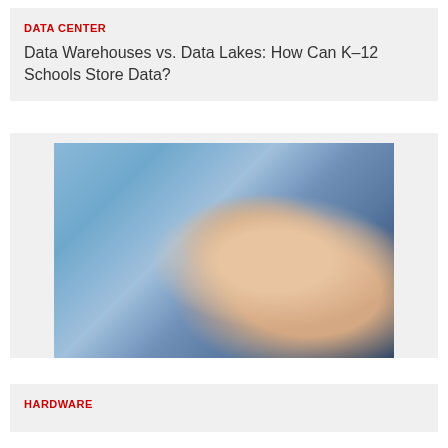DATA CENTER
Data Warehouses vs. Data Lakes: How Can K–12 Schools Store Data?
[Figure (photo): Close-up photo of a person's finger touching a blue touchscreen surface, with another finger visible below. The image has a blue-purple tone with warm skin tones on the fingers.]
HARDWARE